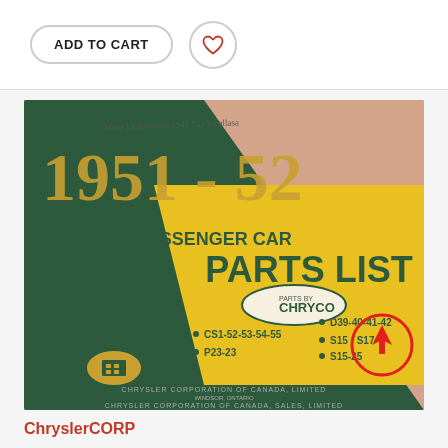[Figure (other): ADD TO CART button and heart/wishlist icon button on white background]
[Figure (photo): Cover of 1951-52 Passenger Car Parts List by Chryco, Chrysler Corporation of Canada Limited. Dark green and yellow cover showing year 1951-52, model codes CS1-52-53-54-55, P23-23, D39-40-41-42, S15-S17, S15-25, with a red circle highlighting a detail. Handwritten inscription at top.]
ChryslerCORP